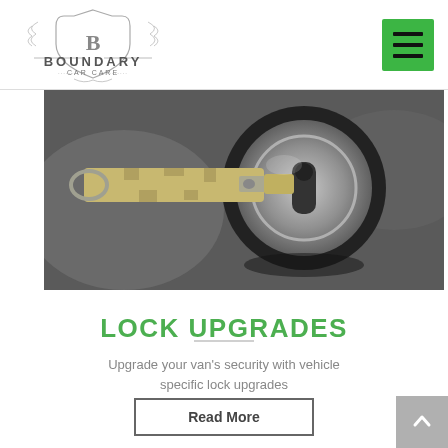[Figure (logo): Boundary Car Care logo with ornate shield emblem and decorative scrollwork]
[Figure (photo): Close-up photograph of a metal key inserted into a cylindrical car door lock cylinder]
LOCK UPGRADES
Upgrade your van's security with vehicle specific lock upgrades
Read More